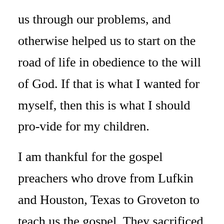us through our problems, and otherwise helped us to start on the road of life in obedience to the will of God. If that is what I wanted for myself, then this is what I should pro-vide for my children.

I am thankful for the gospel preachers who drove from Lufkin and Houston, Texas to Groveton to teach us the gospel. They sacrificed their time, energies, and money to be sure that young folks like me heard the gospel. If I appreciate their efforts to teach